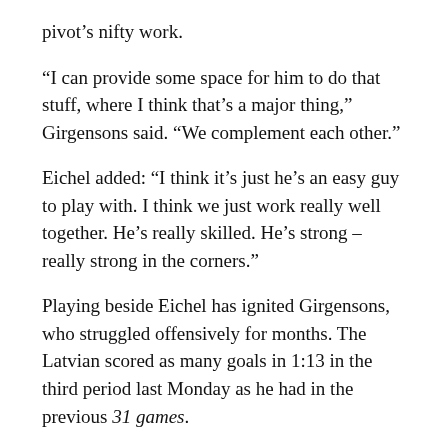pivot's nifty work.
“I can provide some space for him to do that stuff, where I think that’s a major thing,” Girgensons said. “We complement each other.”
Eichel added: “I think it’s just he’s an easy guy to play with. I think we just work really well together. He’s really skilled. He’s strong – really strong in the corners.”
Playing beside Eichel has ignited Girgensons, who struggled offensively for months. The Latvian scored as many goals in 1:13 in the third period last Monday as he had in the previous 31 games.
Girgensons had 15 goals and 30 points in 61